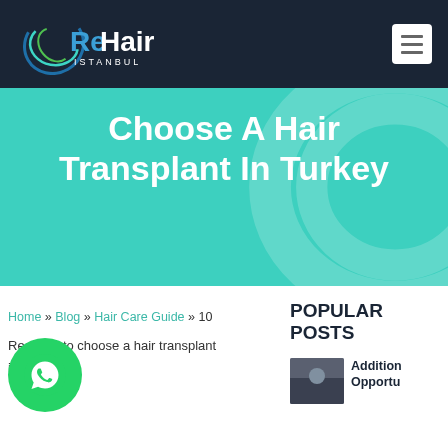[Figure (logo): ReHair Istanbul logo with circular swoosh graphic in blue/green, white text 'ReHair' and smaller text 'ISTANBUL']
Choose A Hair Transplant In Turkey
Home » Blog » Hair Care Guide » 10 Reasons to choose a hair transplant in
POPULAR POSTS
[Figure (photo): Thumbnail image for a popular post, dark/blurred photo]
Addition Opportu